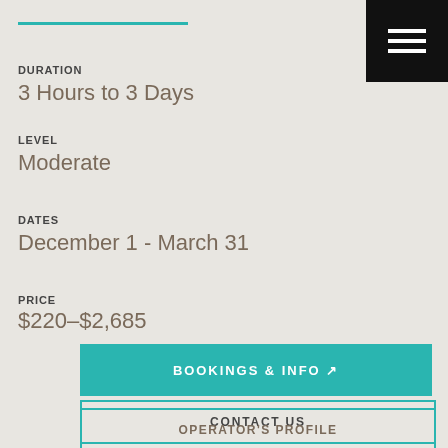DURATION
3 Hours to 3 Days
LEVEL
Moderate
DATES
December 1 - March 31
PRICE
$220–$2,685
BOOKINGS & INFO
CONTACT US
OPERATOR'S PROFILE